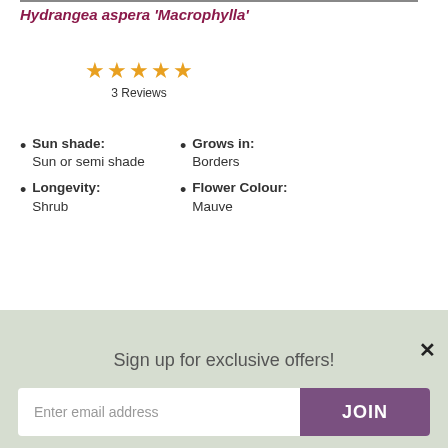Hydrangea aspera 'Macrophylla'
[Figure (other): Five orange/gold star rating icons]
3 Reviews
Sun shade: Sun or semi shade
Grows in: Borders
Flower Colour: Mauve
Longevity: Shrub
[Figure (photo): Close-up photo of green plant leaves]
Sign up for exclusive offers!
Enter email address
JOIN